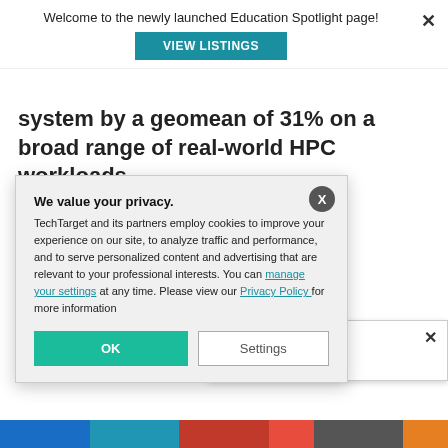Welcome to the newly launched Education Spotlight page!
VIEW LISTINGS
system by a geomean of 31% on a broad range of real-world HPC workloads.
ship Benchmarks S 2019.4 version e to earlier data n
We value your privacy.
TechTarget and its partners employ cookies to improve your experience on our site, to analyze traffic and performance, and to serve personalized content and advertising that are relevant to your professional interests. You can manage your settings at any time. Please view our Privacy Policy for more information
OK
Settings
SC Members